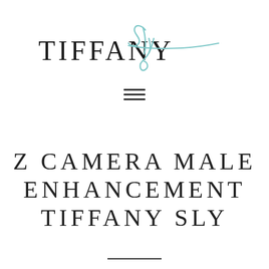[Figure (logo): Tiffany Sly logo: 'TIFFANY' in uppercase serif font with 'Sly' in teal cursive script overlapping, with a teal underline extending to the right]
[Figure (other): Hamburger menu icon: three horizontal dark lines]
Z CAMERA MALE ENHANCEMENT TIFFANY SLY